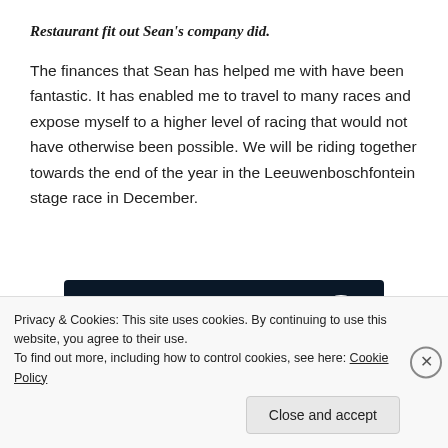Restaurant fit out Sean's company did.
The finances that Sean has helped me with have been fantastic. It has enabled me to travel to many races and expose myself to a higher level of racing that would not have otherwise been possible. We will be riding together towards the end of the year in the Leeuwenboschfontein stage race in December.
[Figure (screenshot): Dark navy banner with a pink 'Start a survey' button on the left and a circular CrowdSignal logo on the right.]
Privacy & Cookies: This site uses cookies. By continuing to use this website, you agree to their use.
To find out more, including how to control cookies, see here: Cookie Policy
Close and accept